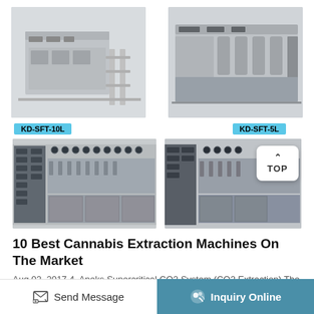[Figure (photo): Two stainless steel supercritical CO2 extraction machines side by side - KD-SFT-10L on left and KD-SFT-5L on right]
KD-SFT-10L
KD-SFT-5L
[Figure (photo): Two large industrial supercritical CO2 extraction machines with multiple control panels and valves, shown side by side]
10 Best Cannabis Extraction Machines On The Market
Aug 02, 2017 4. Apeks Supercritical CO2 System (CO2 Extraction) The most efficient machine...